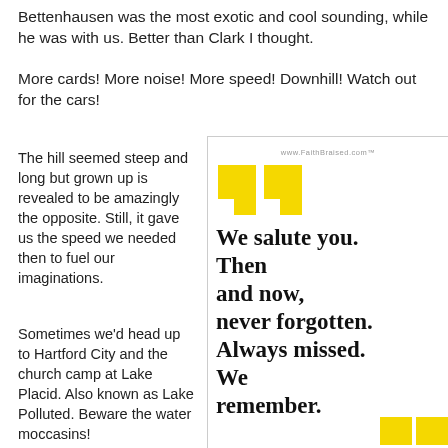Bettenhausen was the most exotic and cool sounding, while he was with us. Better than Clark I thought.
More cards! More noise! More speed! Downhill! Watch out for the cars!
The hill seemed steep and long but grown up is revealed to be amazingly the opposite. Still, it gave us the speed we needed then to fuel our imaginations.
Sometimes we'd head up to Hartford City and the church camp at Lake Placid. Also known as Lake Polluted. Beware the water moccasins!
[Figure (other): Quote box with yellow quotation mark graphic and large serif bold text: 'We salute you. Then and now, never forgotten. Always missed. We remember.' with yellow closing square brackets at bottom right, and URL www.FaithBraised.com at top]